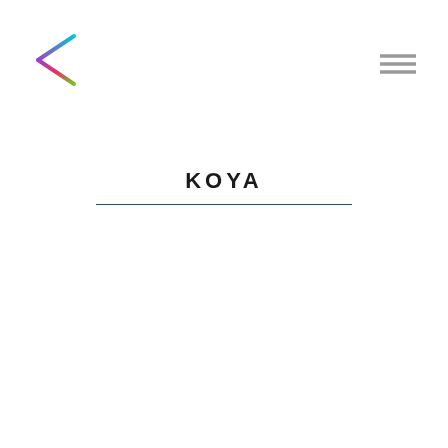[Figure (logo): Colorful K-shaped logo in the top left corner, made of angular lines with a rainbow gradient (cyan, blue, magenta, yellow, green)]
[Figure (other): Hamburger menu icon (three horizontal lines) in the top right corner]
KOYA